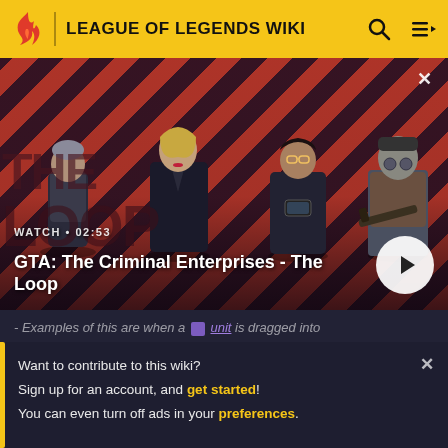LEAGUE OF LEGENDS WIKI
[Figure (screenshot): GTA: The Criminal Enterprises - The Loop video thumbnail with four characters on a red/dark striped background. Shows WATCH • 02:53 label and a play button.]
GTA: The Criminal Enterprises - The Loop
Examples of this are when a unit is dragged into the Attack or Block position, or when a
Want to contribute to this wiki?
Sign up for an account, and get started!
You can even turn off ads in your preferences.